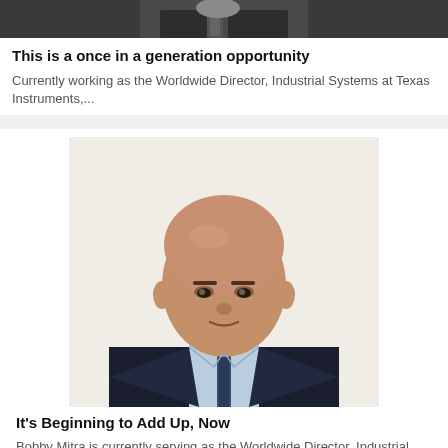[Figure (photo): Partial top of a person wearing a suit and tie, cropped at the neckline and shoulders, dark background]
This is a once in a generation opportunity
Currently working as the Worldwide Director, Industrial Systems at Texas Instruments,...
[Figure (photo): Professional headshot of Bobby Mitra, a bald South Asian man wearing a dark suit and patterned tie over a light blue shirt, against a light beige background]
It's Beginning to Add Up, Now
Bobby Mitra is currently serving as the Worldwide Director, Industrial Systems at Texas...